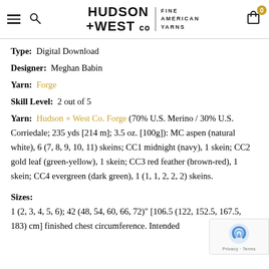HUDSON +WEST Co FINE AMERICAN YARNS
Type: Digital Download
Designer: Meghan Babin
Yarn: Forge
Skill Level: 2 out of 5
Yarn: Hudson + West Co. Forge (70% U.S. Merino / 30% U.S. Corriedale; 235 yds [214 m]; 3.5 oz. [100g]): MC aspen (natural white), 6 (7, 8, 9, 10, 11) skeins; CC1 midnight (navy), 1 skein; CC2 gold leaf (green-yellow), 1 skein; CC3 red feather (brown-red), 1 skein; CC4 evergreen (dark green), 1 (1, 1, 2, 2, 2) skeins.
Sizes:
1 (2, 3, 4, 5, 6); 42 (48, 54, 60, 66, 72)" [106.5 (122, 152.5, 167.5, 183) cm] finished chest circumference. Intended